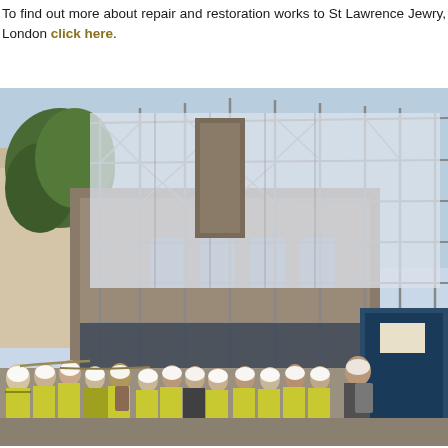To find out more about repair and restoration works to St Lawrence Jewry, London click here.
[Figure (photo): A group of people wearing yellow high-visibility vests and white hard hats standing in front of a historic building undergoing extensive restoration. The building is enveloped in scaffolding covered with white protective sheeting. Trees are visible on the left side.]